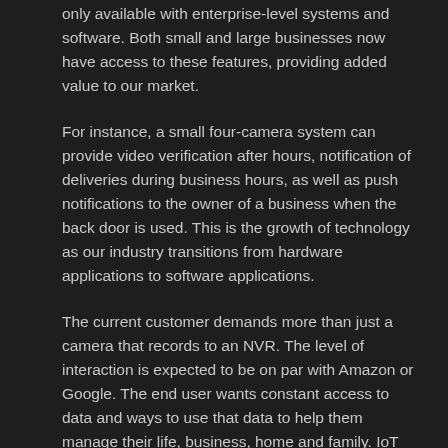only available with enterprise-level systems and software. Both small and large businesses now have access to these features, providing added value to our market.
For instance, a small four-camera system can provide video verification after hours, notification of deliveries during business hours, as well as push notifications to the owner of a business when the back door is used. This is the growth of technology as our industry transitions from hardware applications to software applications.
The current customer demands more than just a camera that records to an NVR. The level of interaction is expected to be on par with Amazon or Google. The end user wants constant access to data and ways to use that data to help them manage their life, business, home and family. IoT devices are allowing for deeper integrations of data and devices